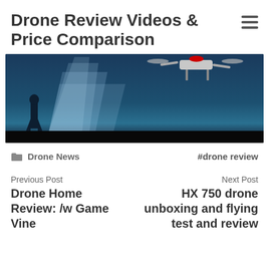Drone Review Videos & Price Comparison
[Figure (photo): Drone flying above a person silhouetted against beams of light on a dark surface, with a black bottom band]
Drone News  #drone review
Previous Post
Drone Home Review: /w Game Vine

Next Post
HX 750 drone unboxing and flying test and review